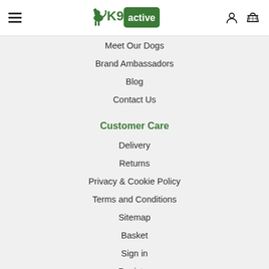K9 Active navigation header with hamburger menu, logo, account and basket icons
Meet Our Dogs
Brand Ambassadors
Blog
Contact Us
Customer Care
Delivery
Returns
Privacy & Cookie Policy
Terms and Conditions
Sitemap
Basket
Sign in
Register